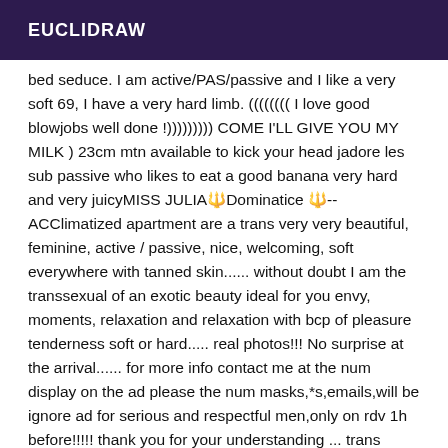EUCLIDRAW
bed seduce. I am active/PAS/passive and I like a very soft 69, I have a very hard limb. (((((((( I love good blowjobs well done !))))))))) COME I'LL GIVE YOU MY MILK ) 23cm mtn available to kick your head jadore les sub passive who likes to eat a good banana very hard and very juicyMISS JULIA🔱Dominatice 🔱--ACClimatized apartment are a trans very very beautiful, feminine, active / passive, nice, welcoming, soft everywhere with tanned skin...... without doubt I am the transsexual of an exotic beauty ideal for you envy, moments, relaxation and relaxation with bcp of pleasure tenderness soft or hard..... real photos!!! No surprise at the arrival...... for more info contact me at the num display on the ad please the num masks,*s,emails,will be ignore ad for serious and respectful men,only on rdv 1h before!!!!! thank you for your understanding ... trans MADE IN BRAZIL ; 25s , hot, dreamy body, I am what you call a real bitch, and I have the ability to satisfy you!! a superb